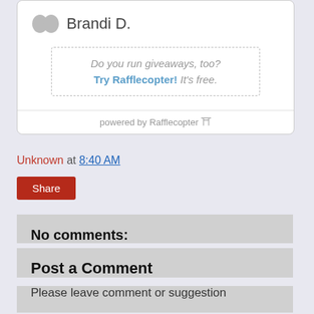[Figure (other): User profile widget card showing avatar icon and username Brandi D., with a dashed promo box saying 'Do you run giveaways, too? Try Rafflecopter! It's free.' and a powered by Rafflecopter footer]
Unknown at 8:40 AM
Share
No comments:
Post a Comment
Please leave comment or suggestion